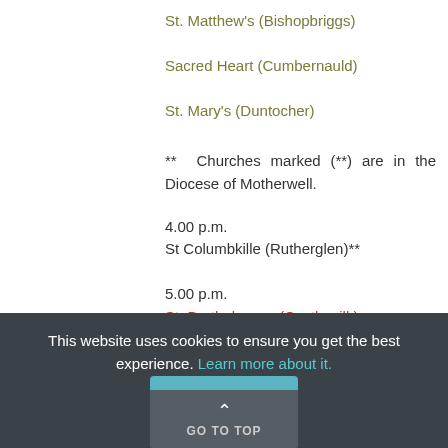St. Matthew's (Bishopbriggs)
Sacred Heart (Cumbernauld)
St. Mary's (Duntocher)
** Churches marked (**) are in the Diocese of Motherwell.
4.00 p.m.
St Columbkille (Rutherglen)**
5.00 p.m.
St. Bartholomew (Castlemilk)
This website uses cookies to ensure you get the best experience. Learn more about it.
GO TO TOP